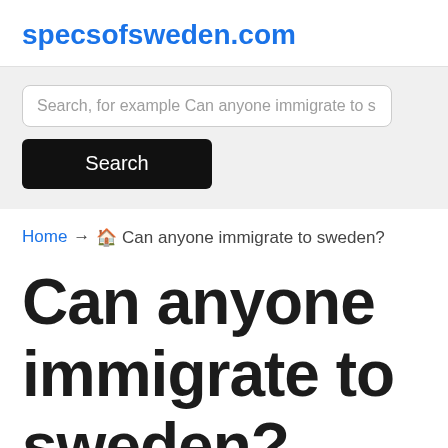specsofsweden.com
[Figure (screenshot): Search input field with placeholder text 'Search, for example Can anyone immigrate to s' and a black Search button below]
Home → 🏠 Can anyone immigrate to sweden?
Can anyone immigrate to sweden?